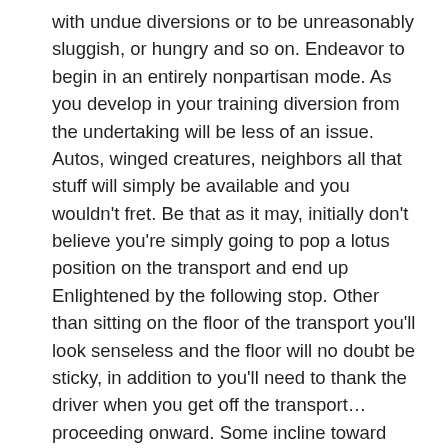with undue diversions or to be unreasonably sluggish, or hungry and so on. Endeavor to begin in an entirely nonpartisan mode. As you develop in your training diversion from the undertaking will be less of an issue. Autos, winged creatures, neighbors all that stuff will simply be available and you wouldn't fret. Be that as it may, initially don't believe you're simply going to pop a lotus position on the transport and end up Enlightened by the following stop. Other than sitting on the floor of the transport you'll look senseless and the floor will no doubt be sticky, in addition to you'll need to thank the driver when you get off the transport… proceeding onward. Some incline toward morning and still others the night, don't pressure the particular decision and be adaptable until something feels most characteristic, you'll know. Attempt to recollect that what you're after is anything but a characteristic method of task for your mind so stay quiet, persevering, and, kind to yourself. Since we have